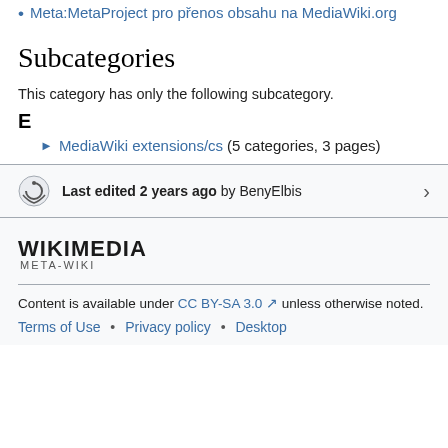Meta:MetaProject pro přenos obsahu na MediaWiki.org
Subcategories
This category has only the following subcategory.
E
MediaWiki extensions/cs (5 categories, 3 pages)
Last edited 2 years ago by BenyElbis
[Figure (logo): Wikimedia Meta-Wiki logo]
Content is available under CC BY-SA 3.0 unless otherwise noted.
Terms of Use • Privacy policy • Desktop